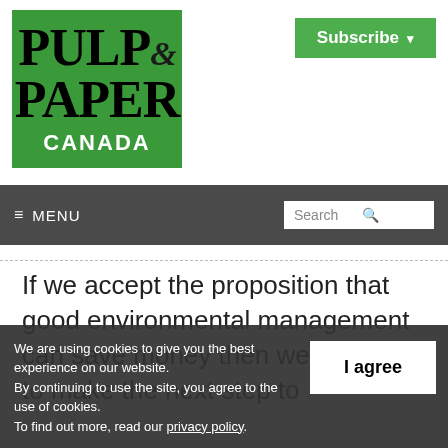[Figure (logo): Pulp & Paper Canada logo on green background with white CANADA text]
[Figure (other): Subscribe button with dropdown arrow, green background]
≡ MENU   Search
If we accept the proposition that good environmental management can save money then we are ready to make the next step to
We are using cookies to give you the best experience on our website. By continuing to use the site, you agree to the use of cookies. To find out more, read our privacy policy.
I agree